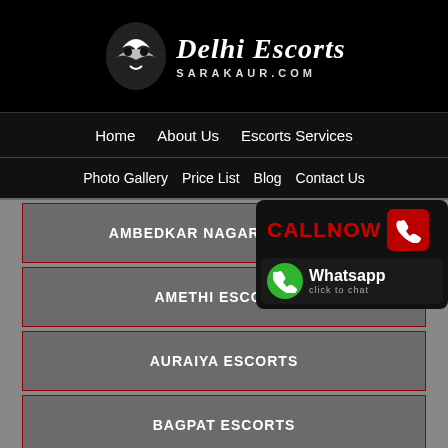[Figure (logo): Delhi Escorts Sarakaur.com logo with stylized masquerade mask icon and italic serif text]
Home | About Us | Escorts Services | Photo Gallery | Price List | Blog | Contact Us
AMBEDKAR NAGAR ESCORTS
AMETHI ESCORTS
AURAIYA ESCORTS
BAGPAT ESCORTS
BALARAMPUR ESCORTS
[Figure (infographic): Call Now button with red phone icon and WhatsApp click to chat button]
[Figure (photo): Two blurred photo thumbnails at bottom with WhatsApp and phone call icons]